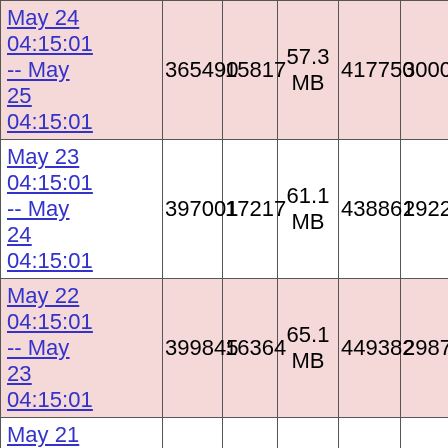| May 24 04:15:01 -- May 25 04:15:01 | 365490 | 15817 | 57.3 MB | 417750 | 3000 |
| May 23 04:15:01 -- May 24 04:15:01 | 397001 | 17217 | 61.1 MB | 438861 | 2922 |
| May 22 04:15:01 -- May 23 04:15:01 | 399845 | 16364 | 65.1 MB | 449382 | 2987 |
| May 21 04:15:02 -- May 22 04:15:01 | 437875 | 17682 | 62.6 MB | 440503 | 2021 |
| May 20 04:15:01 -- May 21 04:15:02 | 308986 | 16034 | 59.0 MB | 417742 | 2272 |